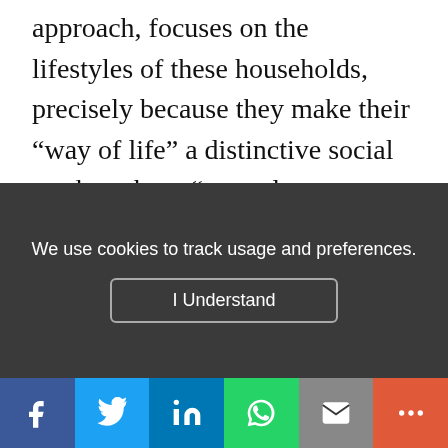approach, focuses on the lifestyles of these households, precisely because they make their “way of life” a distinctive social marker: these “everyday adventurers” pay a great deal of attention to their “living environment” and demonstrate an associative activism in favour of protecting their environment or socio-cultural activities. With high levels of cultural capital, these public-sector employees working in the fields of health and education strived to
We use cookies to track usage and preferences.
I Understand
[Figure (infographic): Social sharing bar with icons: Facebook (blue), Twitter (light blue), LinkedIn (dark blue), WhatsApp (green), Email (grey), More (orange-red)]